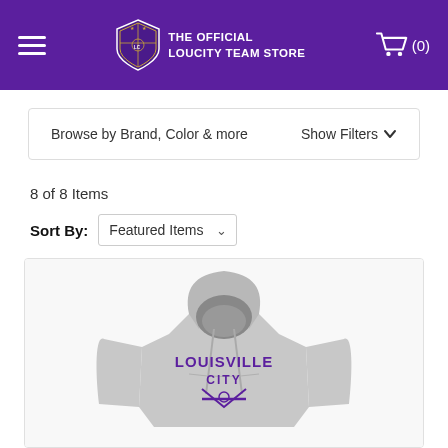THE OFFICIAL LOUCITY TEAM STORE
Browse by Brand, Color & more    Show Filters
8 of 8 Items
Sort By: Featured Items
[Figure (photo): Gray Louisville City FC hoodie sweatshirt with purple LOUISVILLE CITY text and crossed logo on chest]